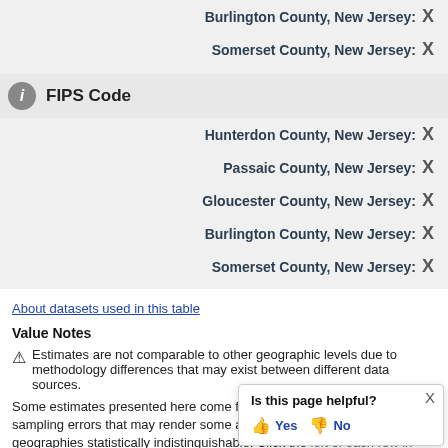Burlington County, New Jersey: X
Somerset County, New Jersey: X
FIPS Code
Hunterdon County, New Jersey: X
Passaic County, New Jersey: X
Gloucester County, New Jersey: X
Burlington County, New Jersey: X
Somerset County, New Jersey: X
About datasets used in this table
Value Notes
Estimates are not comparable to other geographic levels due to methodology differences that may exist between different data sources.
Some estimates presented here come from sample data, and thus have sampling errors that may render some apparent differences between geographies statistically indistinguishable. Click the left of each row in TABLE view to learn about samp